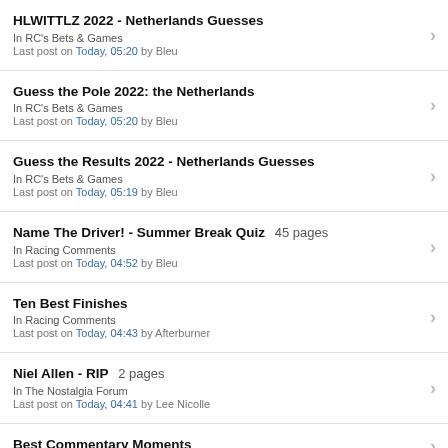HLWITTLZ 2022 - Netherlands Guesses
In RC's Bets & Games
Last post on Today, 05:20 by Bleu
Guess the Pole 2022: the Netherlands
In RC's Bets & Games
Last post on Today, 05:20 by Bleu
Guess the Results 2022 - Netherlands Guesses
In RC's Bets & Games
Last post on Today, 05:19 by Bleu
Name The Driver! - Summer Break Quiz  45 pages
In Racing Comments
Last post on Today, 04:52 by Bleu
Ten Best Finishes
In Racing Comments
Last post on Today, 04:43 by Afterburner
Niel Allen - RIP  2 pages
In The Nostalgia Forum
Last post on Today, 04:41 by Lee Nicolle
Best Commentary Moments